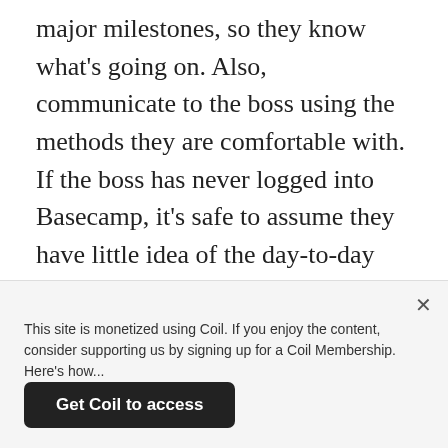major milestones, so they know what's going on. Also, communicate to the boss using the methods they are comfortable with. If the boss has never logged into Basecamp, it's safe to assume they have little idea of the day-to-day decisions you're making for the project. So send the boss a text. Shoot them an e-mail. Make a quick call. They won't be upset with you for keeping them in the loop.
Consider doing some exploratory design work early in the project, no matter how rough. I'm not talking about spec work. I'm talking about high-level design
This site is monetized using Coil. If you enjoy the content, consider supporting us by signing up for a Coil Membership. Here's how...
Get Coil to access